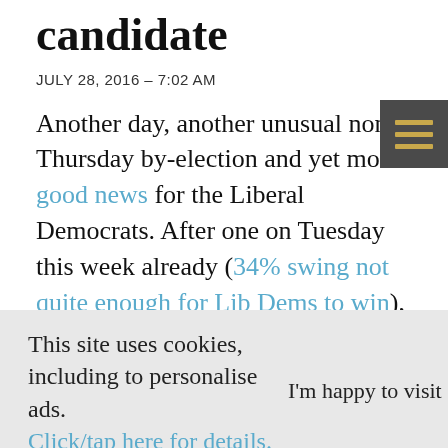candidate
JULY 28, 2016 – 7:02 AM
Another day, another unusual non-Thursday by-election and yet more good news for the Liberal Democrats. After one on Tuesday this week already (34% swing not quite enough for Lib Dems to win), we've now had a Wednesday
This site uses cookies, including to personalise ads. Click/tap here for details.
I'm happy to visit site